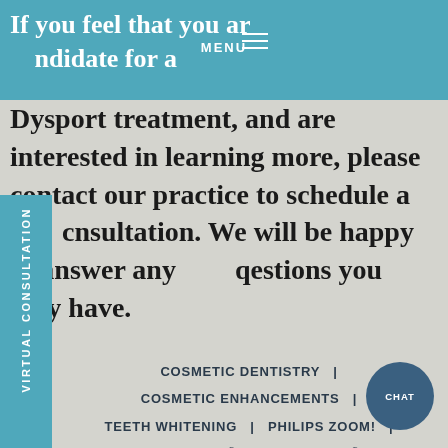MENU
If you feel that you are a good candidate for a Dysport treatment, and are interested in learning more, please contact our practice to schedule a consultation. We will be happy to answer any questions you may have.
COSMETIC DENTISTRY  |
COSMETIC ENHANCEMENTS  |
TEETH WHITENING  |  PHILIPS ZOOM!  |
OPALESCENCE®  |  LUMINEERS®  |
BOTOX® & DYSPORT  |  JUVÉDERM® XC  |
DERMAL FILLERS  |  WATERLASE MD™
ARESTIN®  |  COSMETIC DENTISTRY FAQ
RESTYLANE®